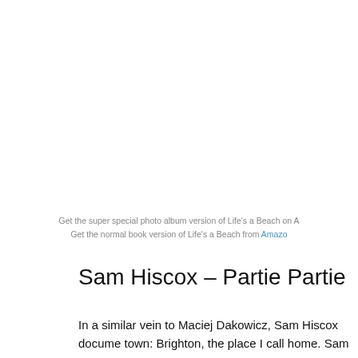Get the super special photo album version of Life's a Beach on A
Get the normal book version of Life's a Beach from Amazon
Sam Hiscox – Partie Partie
In a similar vein to Maciej Dakowicz, Sam Hiscox docume town: Brighton, the place I call home. Sam shoots most of late night venues instead of on the street. Brighton has a n